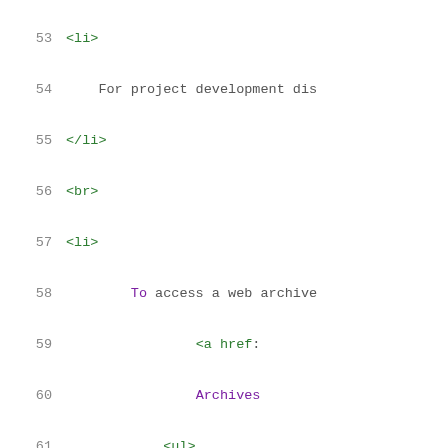Code snippet showing HTML source lines 53-73 with syntax highlighting